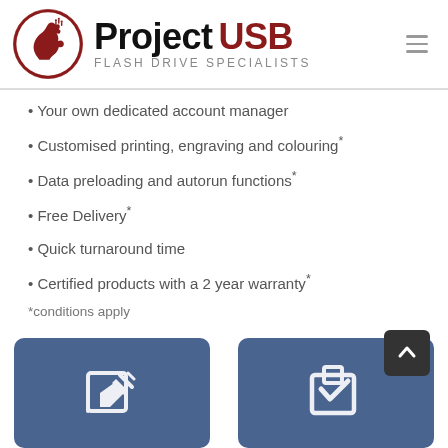[Figure (logo): Project USB logo with horse head icon in red circle, text 'Project USB' and subtitle 'FLASH DRIVE SPECIALISTS']
Your own dedicated account manager
Customised printing, engraving and colouring*
Data preloading and autorun functions*
Free Delivery*
Quick turnaround time
Certified products with a 2 year warranty*
*conditions apply
[Figure (illustration): Two blue cards at bottom: left shows a pencil/edit icon, right shows a checkbox/checkmark icon. A dark scroll-to-top arrow button overlaps the right card.]